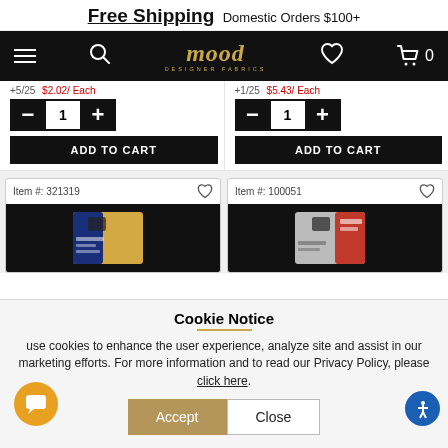Free Shipping Domestic Orders $100+
[Figure (screenshot): Mood Designer Fabrics navigation bar with hamburger menu, search icon, logo, heart/wishlist icon, and cart icon showing 0 items]
+5/25  $2.02/ Each  +1/25  $5.43/ Each
[Figure (screenshot): Two product quantity selectors with minus button, quantity 1, plus button, and ADD TO CART buttons]
Item #: 321319
Item #: 100051
[Figure (photo): Two product cards showing sewing/fabric notions products on black background - blue/gold package and red/silver package]
Cookie Notice
use cookies to enhance the user experience, analyze site and assist in our marketing efforts. For more information and to read our Privacy Policy, please click here.
Accept  Close